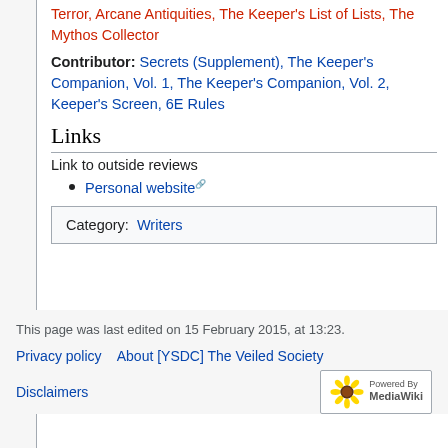Terror, Arcane Antiquities, The Keeper's List of Lists, The Mythos Collector
Contributor: Secrets (Supplement), The Keeper's Companion, Vol. 1, The Keeper's Companion, Vol. 2, Keeper's Screen, 6E Rules
Links
Link to outside reviews
Personal website
| Category:  Writers |
This page was last edited on 15 February 2015, at 13:23.
Privacy policy   About [YSDC] The Veiled Society
Disclaimers